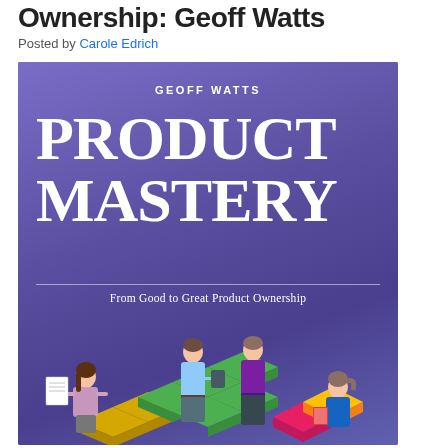Ownership: Geoff Watts
Posted by Carole Edrich
[Figure (illustration): Book cover of 'Product Mastery: From Good to Great Product Ownership' by Geoff Watts. Purple background with large serif title text and an illustration of four people around a table with colorful building blocks.]